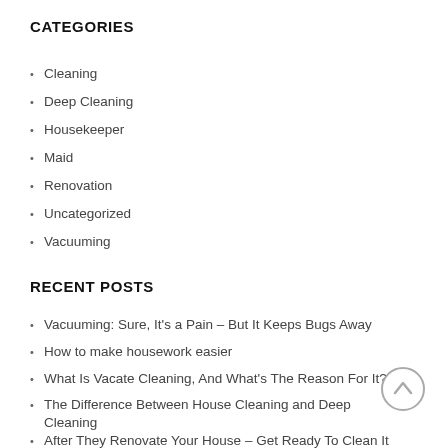CATEGORIES
Cleaning
Deep Cleaning
Housekeeper
Maid
Renovation
Uncategorized
Vacuuming
RECENT POSTS
Vacuuming: Sure, It's a Pain – But It Keeps Bugs Away
How to make housework easier
What Is Vacate Cleaning, And What's The Reason For It?
The Difference Between House Cleaning and Deep Cleaning
After They Renovate Your House – Get Ready To Clean It